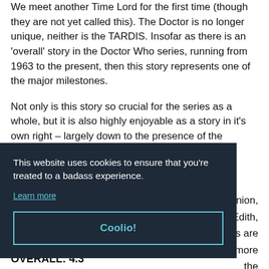We meet another Time Lord for the first time (though they are not yet called this). The Doctor is no longer unique, neither is the TARDIS. Insofar as there is an 'overall' story in the Doctor Who series, running from 1963 to the present, then this story represents one of the major milestones.
Not only is this story so crucial for the series as a whole, but it is also highly enjoyable as a story in it's own right – largely down to the presence of the [partially obscured] ...nion, ...Edith, ...s are ...more ...the ...Doctor
This website uses cookies to ensure that you're treated to a badass experience.
Learn more
Coolio!
OVERALL: 4.3